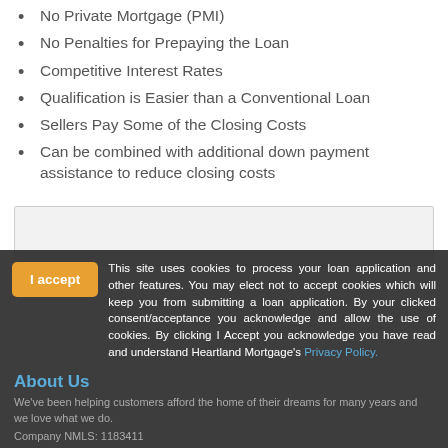No Private Mortgage (PMI)
No Penalties for Prepaying the Loan
Competitive Interest Rates
Qualification is Easier than a Conventional Loan
Sellers Pay Some of the Closing Costs
Can be combined with additional down payment assistance to reduce closing costs
[Figure (other): Gray bordered box, likely a form input or widget area]
I accept  This site uses cookies to process your loan application and other features. You may elect not to accept cookies which will keep you from submitting a loan application. By your clicked consent/acceptance you acknowledge and allow the use of cookies. By clicking I Accept you acknowledge you have read and understand Heartland Mortgage's Privacy Policy.
About Us
We've been helping customers afford the home of their dreams for many years and we love what we do.
Company NMLS: 1183411